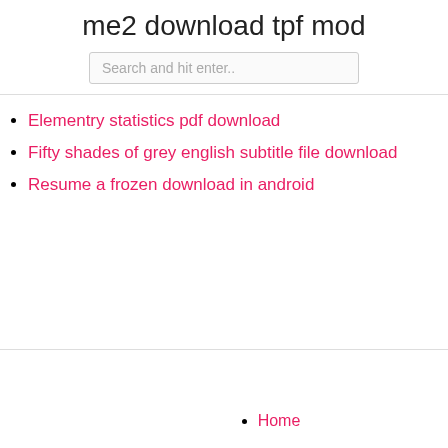me2 download tpf mod
Search and hit enter..
Elementry statistics pdf download
Fifty shades of grey english subtitle file download
Resume a frozen download in android
Home